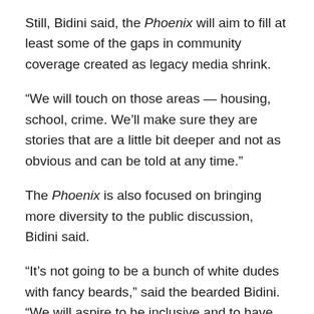Still, Bidini said, the Phoenix will aim to fill at least some of the gaps in community coverage created as legacy media shrink.
“We will touch on those areas — housing, school, crime. We’ll make sure they are stories that are a little bit deeper and not as obvious and can be told at any time.”
The Phoenix is also focused on bringing more diversity to the public discussion, Bidini said.
“It’s not going to be a bunch of white dudes with fancy beards,” said the bearded Bidini. “We will aspire to be inclusive and to have Indigenous voices. Three or four pieces in the first issue are about Indigenous